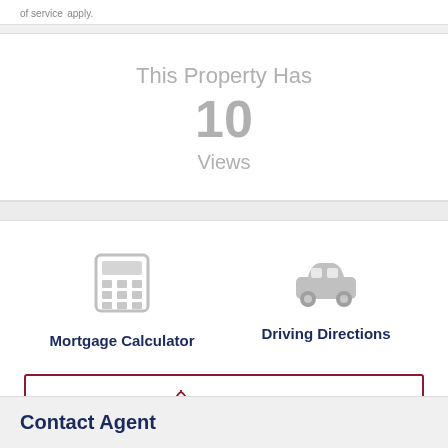of service apply.
This Property Has 10 Views
[Figure (illustration): Mortgage Calculator icon (calculator grid) and Driving Directions icon (car silhouette)]
Mortgage Calculator
Driving Directions
Get Alerts
Contact Agent